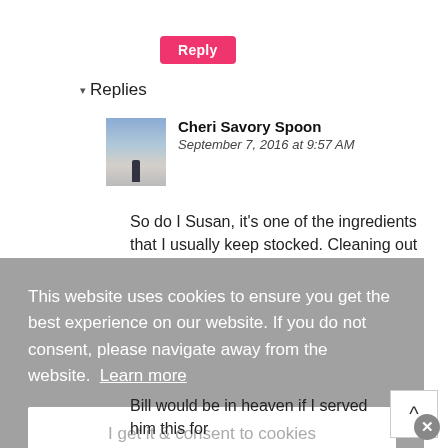Reply
▾ Replies
Cheri Savory Spoon
September 7, 2016 at 9:57 AM
So do I Susan, it's one of the ingredients that I usually keep stocked. Cleaning out
This website uses cookies to ensure you get the best experience on our website. If you do not consent, please navigate away from the website.  Learn more
I get it & consent to cookies
Bill would be in heaven if I served him this for